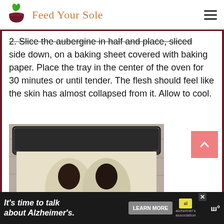Feed Your Sole
2. Slice the aubergine in half and place, sliced side down, on a baking sheet covered with baking paper. Place the tray in the center of the oven for 30 minutes or until tender. The flesh should feel like the skin has almost collapsed from it. Allow to cool.
[Figure (photo): Photo of two aubergine halves placed sliced-side down on baking paper on a dark baking tray, viewed from above on a wooden surface.]
It's time to talk about Alzheimer's. LEARN MORE